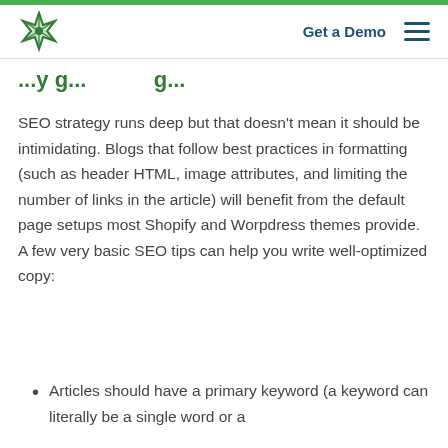Get a Demo
...y g...g...
SEO strategy runs deep but that doesn't mean it should be intimidating. Blogs that follow best practices in formatting (such as header HTML, image attributes, and limiting the number of links in the article) will benefit from the default page setups most Shopify and Worpdress themes provide. A few very basic SEO tips can help you write well-optimized copy:
Articles should have a primary keyword (a keyword can literally be a single word or a